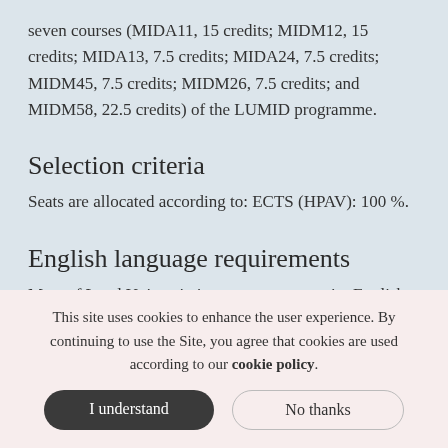seven courses (MIDA11, 15 credits; MIDM12, 15 credits; MIDA13, 7.5 credits; MIDA24, 7.5 credits; MIDM45, 7.5 credits; MIDM26, 7.5 credits; and MIDM58, 22.5 credits) of the LUMID programme.
Selection criteria
Seats are allocated according to: ECTS (HPAV): 100 %.
English language requirements
Most of Lund University's programmes require English
This site uses cookies to enhance the user experience. By continuing to use the Site, you agree that cookies are used according to our cookie policy.